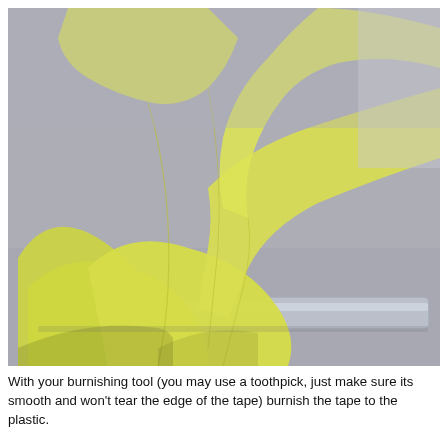[Figure (photo): Close-up photo of yellow tissue paper or transfer tape being lifted and folded back over a clear plastic backing, placed on a light gray surface. The yellow material is semi-transparent and shows creases and folds.]
With your burnishing tool (you may use a toothpick, just make sure its smooth and won't tear the edge of the tape) burnish the tape to the plastic.